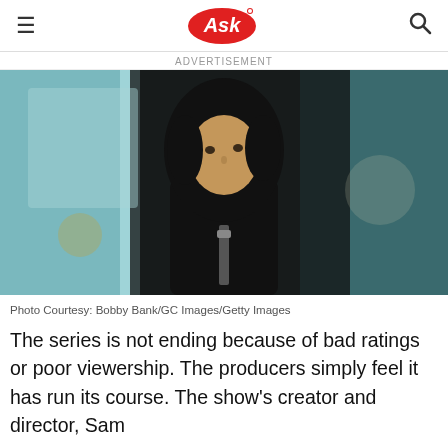Ask
ADVERTISEMENT
[Figure (photo): Man wearing a black hoodie looking upward, blurred teal/blue background, appears to be a still from a TV show]
Photo Courtesy: Bobby Bank/GC Images/Getty Images
The series is not ending because of bad ratings or poor viewership. The producers simply feel it has run its course. The show's creator and director, Sam